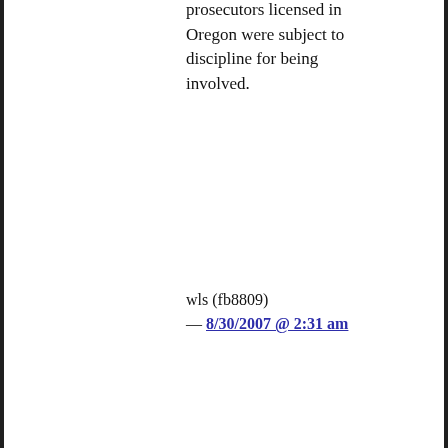prosecutors licensed in Oregon were subject to discipline for being involved.
wls (fb8809) — 8/30/2007 @ 2:31 am
31. Alphie @ 25
De Pue's affidavit shows the New Yorker article to be factually wrong. That's what you get for relying on Jane Mayer.
The arti...